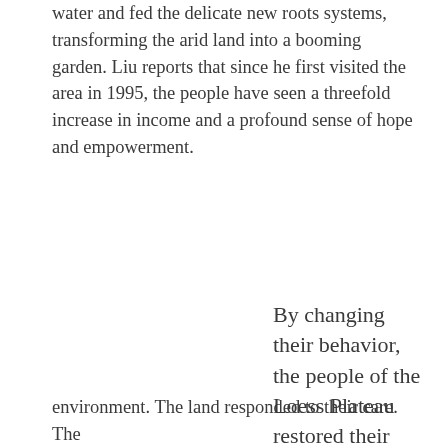water and fed the delicate new roots systems, transforming the arid land into a booming garden. Liu reports that since he first visited the area in 1995, the people have seen a threefold increase in income and a profound sense of hope and empowerment.
By changing their behavior, the people of the Loess Plateau restored their
environment. The land responded to their care. The